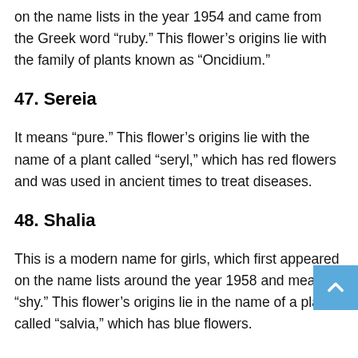on the name lists in the year 1954 and came from the Greek word “ruby.” This flower’s origins lie with the family of plants known as “Oncidium.”
47. Sereia
It means “pure.” This flower’s origins lie with the name of a plant called “seryl,” which has red flowers and was used in ancient times to treat diseases.
48. Shalia
This is a modern name for girls, which first appeared on the name lists around the year 1958 and meant “shy.” This flower’s origins lie in the name of a plant called “salvia,” which has blue flowers.